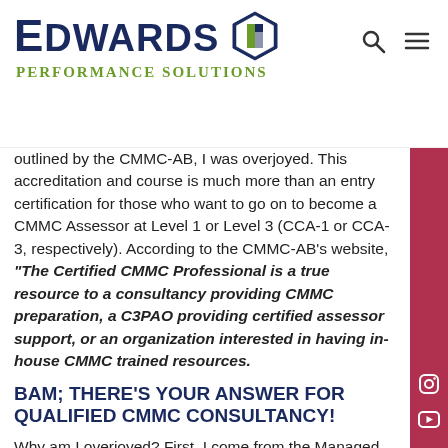[Figure (logo): Edwards Performance Solutions logo with hexagonal icon, large bold navy EDWARDS text and green PERFORMANCE SOLUTIONS subtitle]
outlined by the CMMC-AB, I was overjoyed. This accreditation and course is much more than an entry certification for those who want to go on to become a CMMC Assessor at Level 1 or Level 3 (CCA-1 or CCA-3, respectively). According to the CMMC-AB's website, "The Certified CMMC Professional is a true resource to a consultancy providing CMMC preparation, a C3PAO providing certified assessor support, or an organization interested in having in-house CMMC trained resources.
BAM; THERE'S YOUR ANSWER FOR QUALIFIED CMMC CONSULTANCY!
Why am I overjoyed? First, I come from the Managed Service Provider (MSP) world, where for 21 years I owned and operated my own MSP practice. Along with my team, I performed the cybersecurity assessments, gap analysis, and security implementation for upwards of 75 businesses in